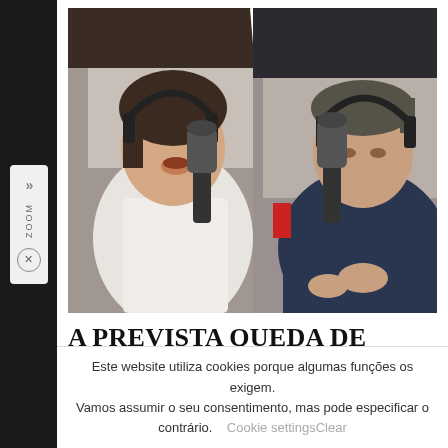[Figure (photo): Two people wearing headphones in a podcast/radio studio. On the left, a woman in a white shirt laughing. On the right, a man in a dark navy hoodie leaning forward near a microphone. A white diagonal line divides the two halves of the image.]
A PREVISTA QUEDA DE LANGE FRANS E FALL CABAL. O
Este website utiliza cookies porque algumas funções os exigem. Vamos assumir o seu consentimento, mas pode especificar o contrário.
Cookie settingsClear